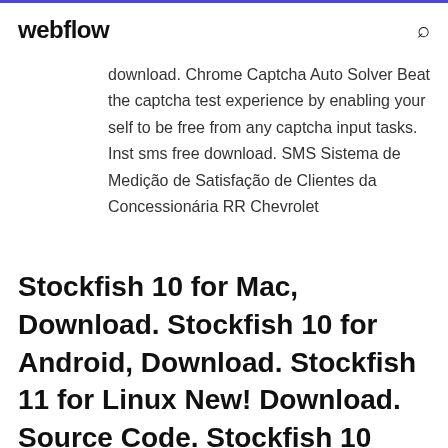webflow
download. Chrome Captcha Auto Solver Beat the captcha test experience by enabling your self to be free from any captcha input tasks. Inst sms free download. SMS Sistema de Medição de Satisfação de Clientes da Concessionária RR Chevrolet
Stockfish 10 for Mac, Download. Stockfish 10 for Android, Download. Stockfish 11 for Linux New! Download. Source Code. Stockfish 10 Source Code, Download